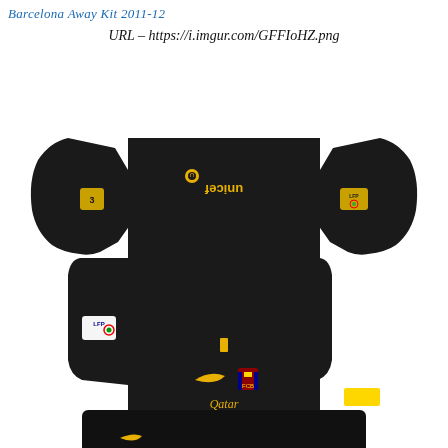Barcelona Away Kit 2011-12
URL – https://i.imgur.com/GFFIoHZ.png
[Figure (illustration): Dream League Soccer kit template showing Barcelona away kit 2011-12 in black with yellow/gold unicef sponsor text, Qatar Foundation text, Nike swoosh, Barcelona crest, LFP badge, and red/yellow stripe on shoulder. Kit layout shows front and back of shirt unfolded flat with sleeves spread out, plus shorts below.]